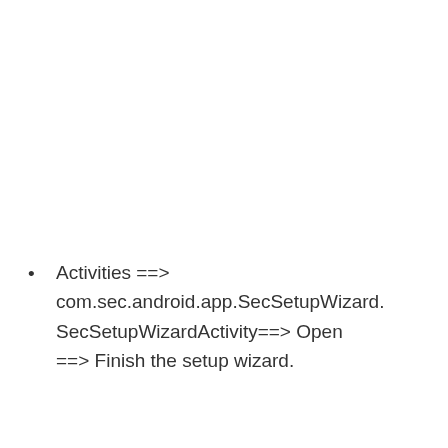Activities ==> com.sec.android.app.SecSetupWizard.SecSetupWizardActivity==> Open ==> Finish the setup wizard.